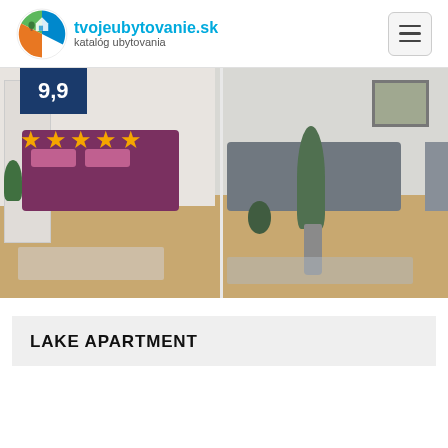tvojeubytovanie.sk katalóg ubytovania
[Figure (photo): Apartment interior photo showing two rooms: bedroom with purple bedding and wardrobe on the left, living area with gray sofa and potted plants on the right. Rating badge 9,9 and 4.5 gold stars overlay the top-left of the image.]
LAKE APARTMENT